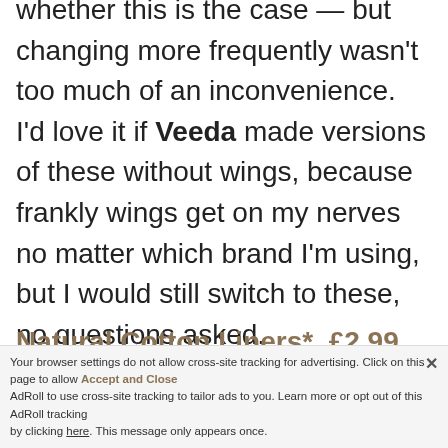whether this is the case — but changing more frequently wasn't too much of an inconvenience. I'd love it if Veeda made versions of these without wings, because frankly wings get on my nerves no matter which brand I'm using, but I would still switch to these, no questions asked.
Natural Cotton Liners*, £2.99 for a box of 40
Your browser settings do not allow cross-site tracking for advertising. Click on this page to allow AdRoll to use cross-site tracking to tailor ads to you. Learn more or opt out of this AdRoll tracking by clicking here. This message only appears once.